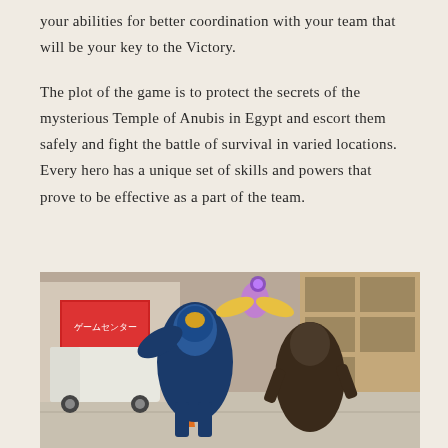your abilities for better coordination with your team that will be your key to the Victory.
The plot of the game is to protect the secrets of the mysterious Temple of Anubis in Egypt and escort them safely and fight the battle of survival in varied locations. Every hero has a unique set of skills and powers that prove to be effective as a part of the team.
[Figure (photo): Screenshot from a video game (likely Overwatch) showing armored hero characters fighting in a Japanese city street setting with a game center storefront in the background.]